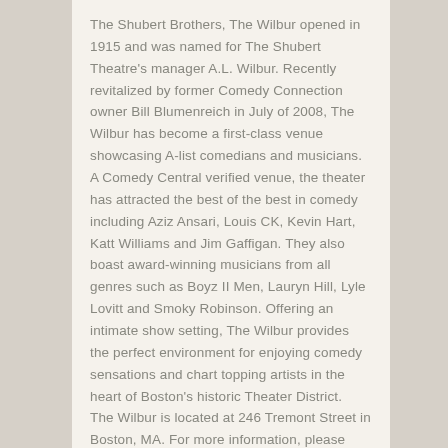The Shubert Brothers, The Wilbur opened in 1915 and was named for The Shubert Theatre's manager A.L. Wilbur. Recently revitalized by former Comedy Connection owner Bill Blumenreich in July of 2008, The Wilbur has become a first-class venue showcasing A-list comedians and musicians. A Comedy Central verified venue, the theater has attracted the best of the best in comedy including Aziz Ansari, Louis CK, Kevin Hart, Katt Williams and Jim Gaffigan. They also boast award-winning musicians from all genres such as Boyz II Men, Lauryn Hill, Lyle Lovitt and Smoky Robinson. Offering an intimate show setting, The Wilbur provides the perfect environment for enjoying comedy sensations and chart topping artists in the heart of Boston's historic Theater District.
The Wilbur is located at 246 Tremont Street in Boston, MA. For more information, please visit www.wilburboston.wpengine.com, or call